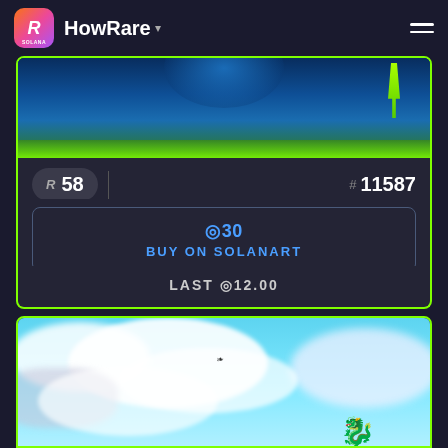HowRare
[Figure (illustration): Partial NFT artwork showing a dark blue underwater/fantasy scene with green glowing arrow, framed with neon green border]
R 58
# 11587
◎30
BUY ON SOLANART
LAST ◎12.00
[Figure (illustration): NFT artwork showing a purple dragon/creature character flying through cloudy blue sky, framed with neon green border]